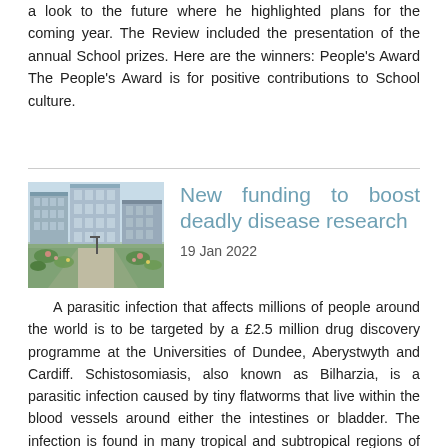a look to the future where he highlighted plans for the coming year. The Review included the presentation of the annual School prizes. Here are the winners: People's Award The People's Award is for positive contributions to School culture.
[Figure (photo): Exterior photo of a modern university building with landscaped garden area in the foreground]
New funding to boost deadly disease research
19 Jan 2022
A parasitic infection that affects millions of people around the world is to be targeted by a £2.5 million drug discovery programme at the Universities of Dundee, Aberystwyth and Cardiff. Schistosomiasis, also known as Bilharzia, is a parasitic infection caused by tiny flatworms that live within the blood vessels around either the intestines or bladder. The infection is found in many tropical and subtropical regions of the world and is